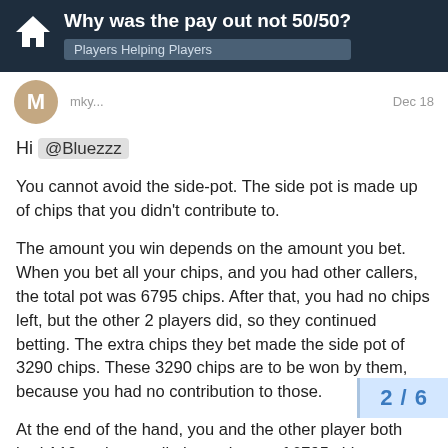Why was the pay out not 50/50? | Players Helping Players
Hi @Bluezzz
You cannot avoid the side-pot. The side pot is made up of chips that you didn't contribute to.
The amount you win depends on the amount you bet. When you bet all your chips, and you had other callers, the total pot was 6795 chips. After that, you had no chips left, but the other 2 players did, so they continued betting. The extra chips they bet made the side pot of 3290 chips. These 3290 chips are to be won by them, because you had no contribution to those.
At the end of the hand, you and the other player both had A10 and you split the main pot of 6795 chips, so you got 3397 chips and he got 3398 chips.
The side pot of 3290 chips which you cann was also won by the other player, bringing
2 / 6